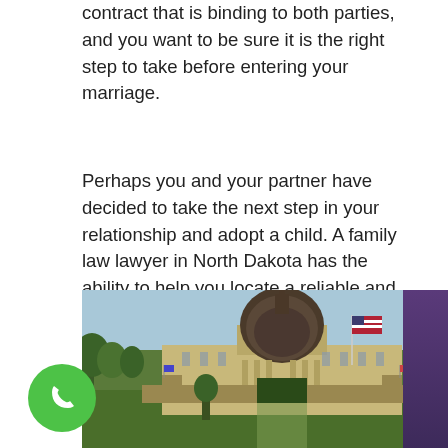contract that is binding to both parties, and you want to be sure it is the right step to take before entering your marriage.
Perhaps you and your partner have decided to take the next step in your relationship and adopt a child. A family law lawyer in North Dakota has the ability to help you locate a reliable and worthy agency that can assist with your wishes and help you build the family you dreamed of having.
[Figure (photo): Photograph of a state capitol building with a domed roof, American flag, trees, and an entrance gate in the foreground under a blue sky.]